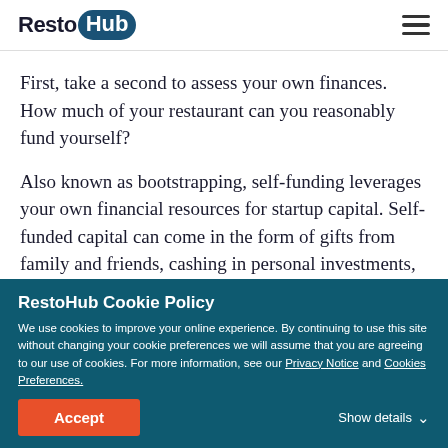RestoHub
First, take a second to assess your own finances. How much of your restaurant can you reasonably fund yourself?
Also known as bootstrapping, self-funding leverages your own financial resources for startup capital. Self-funded capital can come in the form of gifts from family and friends, cashing in personal investments, your own savings account, or sometimes retirement
RestoHub Cookie Policy
We use cookies to improve your online experience. By continuing to use this site without changing your cookie preferences we will assume that you are agreeing to our use of cookies. For more information, see our Privacy Notice and Cookies Preferences.